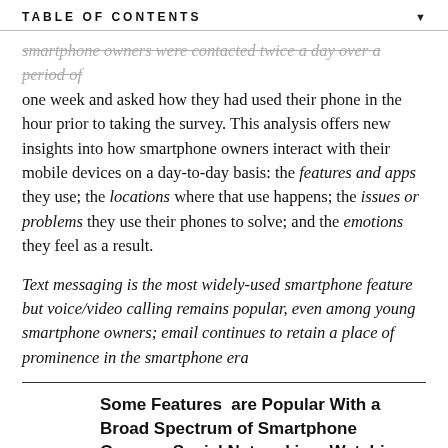TABLE OF CONTENTS
smartphone owners were contacted twice a day over a period of one week and asked how they had used their phone in the hour prior to taking the survey. This analysis offers new insights into how smartphone owners interact with their mobile devices on a day-to-day basis: the features and apps they use; the locations where that use happens; the issues or problems they use their phones to solve; and the emotions they feel as a result.
Text messaging is the most widely-used smartphone feature but voice/video calling remains popular, even among young smartphone owners; email continues to retain a place of prominence in the smartphone era
Some Features are Popular With a Broad Spectrum of Smartphone Owners; Social Networking, Watching Video, and Music/Podcasts are Especially Popular